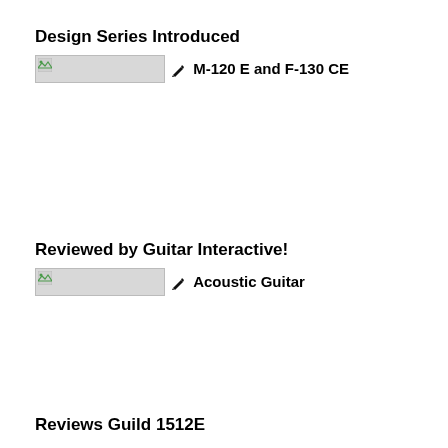Design Series Introduced
[Figure (other): Broken image placeholder with pencil icon and text: M-120 E and F-130 CE]
Reviewed by Guitar Interactive!
[Figure (other): Broken image placeholder with pencil icon and text: Acoustic Guitar]
Reviews Guild 1512E